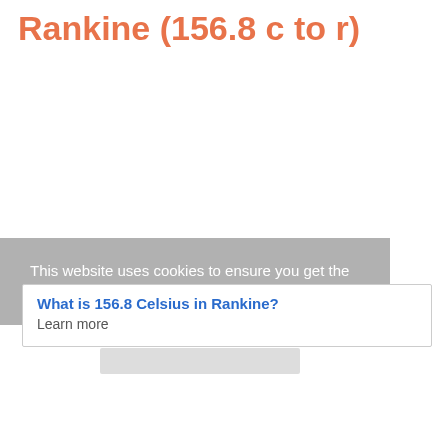Rankine (156.8 c to r)
This website uses cookies to ensure you get the best experience on our website.
What is 156.8 Celsius in Rankine?
Learn more